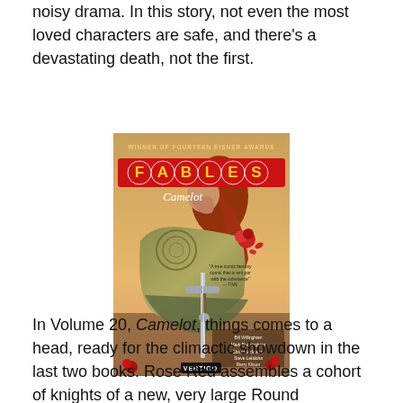noisy drama. In this story, not even the most loved characters are safe, and there's a devastating death, not the first.
[Figure (photo): Book cover of 'Fables: Camelot' showing a woman in golden armor kneeling and holding a sword, with a red rose. The title 'FABLES' appears in large yellow letters on red circles at the top, with 'Camelot' in script below. 'WINNER OF FOURTEEN EISNER AWARDS' text at top. Author names at bottom.]
In Volume 20, Camelot, things comes to a head, ready for the climactic showdown in the last two books. Rose Red assembles a cohort of knights of a new, very large Round